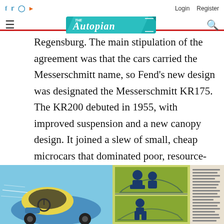The Autopian — Login | Register
Regensburg. The main stipulation of the agreement was that the cars carried the Messerschmitt name, so Fend's new design was designated the Messerschmitt KR175. The KR200 debuted in 1955, with improved suspension and a new canopy design. It joined a slew of small, cheap microcars that dominated poor, resource-starved post-war Germany.
[Figure (illustration): Vintage illustration of a Messerschmitt microcar interior/cockpit view, blue and yellow color scheme]
[Figure (illustration): Vintage advertisement or brochure page showing Messerschmitt KR seating diagrams with silhouetted figures, blue/yellow color scheme with German text]